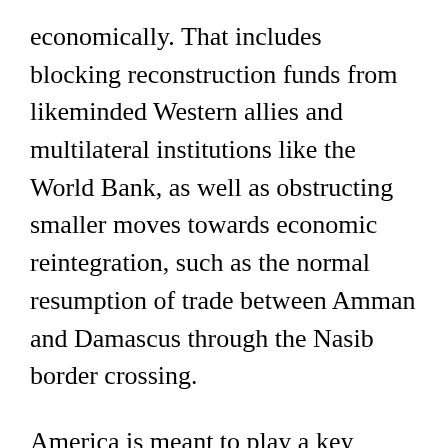economically. That includes blocking reconstruction funds from likeminded Western allies and multilateral institutions like the World Bank, as well as obstructing smaller moves towards economic reintegration, such as the normal resumption of trade between Amman and Damascus through the Nasib border crossing.
America is meant to play a key leadership role in this effort, reinforcing international consensus on an economic blockade of Assad. The idea is to use economic leverage on the regime and its ally Russia, in parallel with